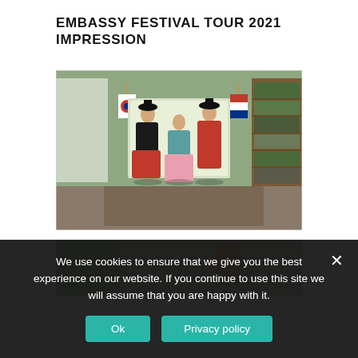EMBASSY FESTIVAL TOUR 2021 IMPRESSION
[Figure (photo): Three people in traditional Korean hanbok costumes standing indoors with Korean and Dutch flags, in front of an official banner. A bookshelf is visible on the right.]
[Figure (photo): Partial view of another photo showing an indoor setting, cropped at the bottom of the page.]
We use cookies to ensure that we give you the best experience on our website. If you continue to use this site we will assume that you are happy with it.